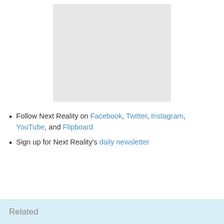[Figure (other): Gray placeholder image box]
Follow Next Reality on Facebook, Twitter, Instagram, YouTube, and Flipboard
Sign up for Next Reality's daily newsletter
Related